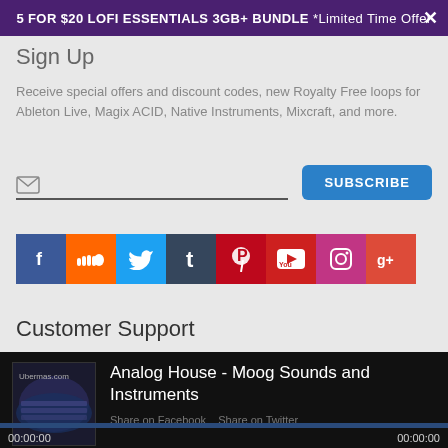5 FOR $20 LOFI ESSENTIALS 3GB+ BUNDLE *Limited Time Offer
Sign Up
Receive special offers and discount codes, new Royalty Free loops for Ableton Live, Magix ACID, Native Instruments, Mixcraft, and more.
[Figure (infographic): Email input field with envelope icon and a blue Subscribe button]
[Figure (infographic): Social media icon bar with icons for Facebook, SoundCloud, Twitter, Tumblr, Pinterest, YouTube, Instagram, Google+]
Customer Support
[Figure (infographic): Music player widget showing album art for Analog House - Moog Sounds and Instruments, share links, playback controls, progress bar, and time display 00:00:00 / 00:00:00]